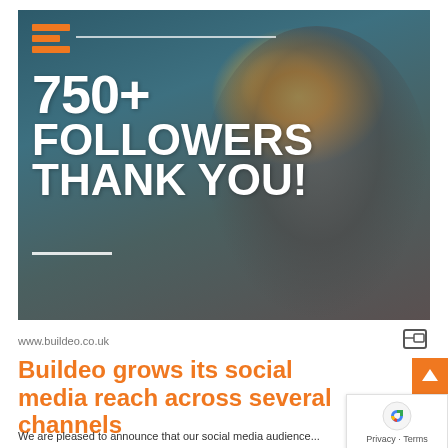[Figure (photo): Dark teal-blue background photo of a person holding a sparkler, with large white bold text overlay reading '750+ FOLLOWERS THANK YOU!' and an orange horizontal bar logo in the top-left corner. A horizontal white line appears above the text and a shorter one below it.]
www.buildeo.co.uk
Buildeo grows its social media reach across several channels
We are pleased to announce that our social media audience...